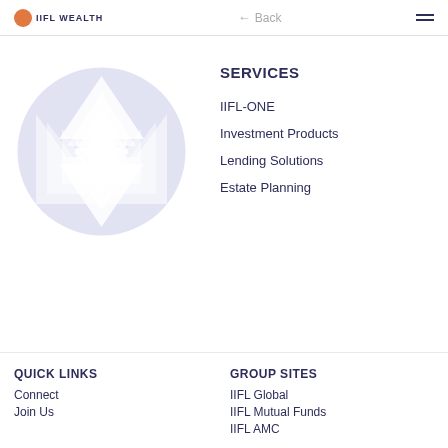IIFL WEALTH | Back | Menu
SERVICES
[Figure (illustration): IIFL Wealth circular mandala logo in light lavender/periwinkle color featuring geometric triangular Sri Yantra pattern]
IIFL-ONE
Investment Products
Lending Solutions
Estate Planning
QUICK LINKS
Connect
Join Us
GROUP SITES
IIFL Global
IIFL Mutual Funds
IIFL AMC